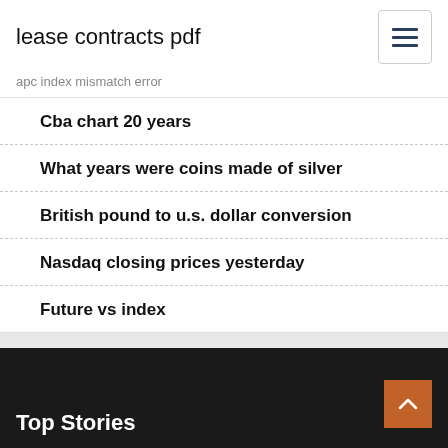lease contracts pdf
apc index mismatch error
Cba chart 20 years
What years were coins made of silver
British pound to u.s. dollar conversion
Nasdaq closing prices yesterday
Future vs index
Top Stories